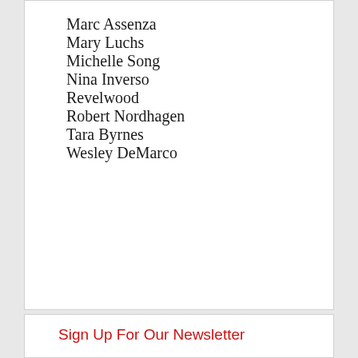Marc Assenza
Mary Luchs
Michelle Song
Nina Inverso
Revelwood
Robert Nordhagen
Tara Byrnes
Wesley DeMarco
Sign Up For Our Newsletter